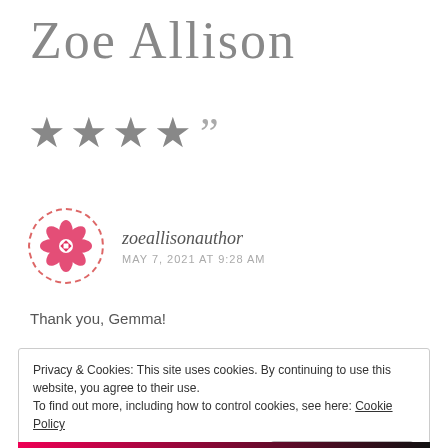Zoe Allison
[Figure (infographic): Four grey stars followed by a closing double-quote mark]
[Figure (logo): Circular avatar with dashed pink border containing a pink floral/geometric pattern logo for zoeallisonauthor]
zoeallisonauthor
MAY 7, 2021 AT 9:28 AM
Thank you, Gemma!
Privacy & Cookies: This site uses cookies. By continuing to use this website, you agree to their use.
To find out more, including how to control cookies, see here: Cookie Policy
Close and accept